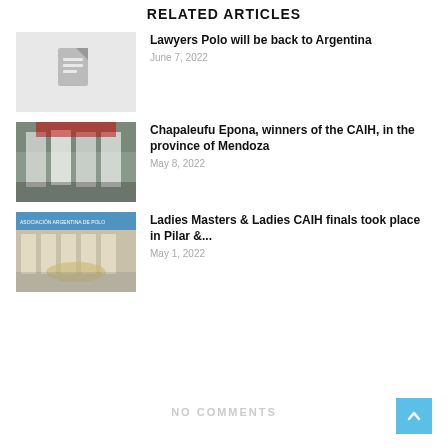RELATED ARTICLES
[Figure (photo): Gray placeholder thumbnail with document icon]
Lawyers Polo will be back to Argentina
June 7, 2022
[Figure (photo): Group of polo players in white uniforms holding a trophy]
Chapaleufu Epona, winners of the CAIH, in the province of Mendoza
May 8, 2022
[Figure (photo): Women in white outfits holding floral arrangements in front of Asociacion Argentina de Polo banner]
Ladies Masters & Ladies CAIH finals took place in Pilar &...
May 1, 2022
NO COMMENTS